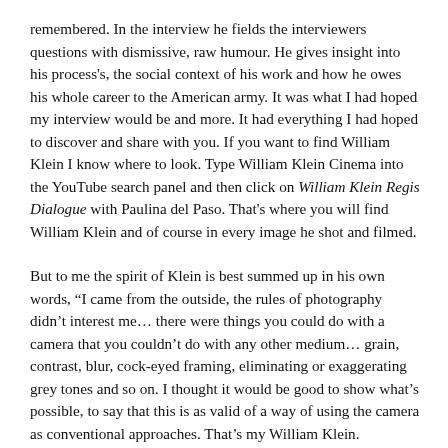remembered. In the interview he fields the interviewers questions with dismissive, raw humour. He gives insight into his process's, the social context of his work and how he owes his whole career to the American army. It was what I had hoped my interview would be and more. It had everything I had hoped to discover and share with you. If you want to find William Klein I know where to look. Type William Klein Cinema into the YouTube search panel and then click on William Klein Regis Dialogue with Paulina del Paso. That's where you will find William Klein and of course in every image he shot and filmed.
But to me the spirit of Klein is best summed up in his own words, “I came from the outside, the rules of photography didn’t interest me… there were things you could do with a camera that you couldn’t do with any other medium… grain, contrast, blur, cock-eyed framing, eliminating or exaggerating grey tones and so on. I thought it would be good to show what’s possible, to say that this is as valid of a way of using the camera as conventional approaches. That’s my William Klein.